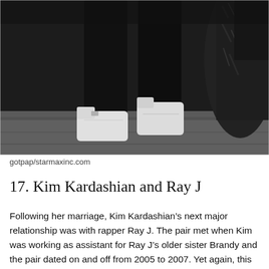[Figure (photo): Close-up photo of person's legs in black pants wearing white high-top sneakers on a sidewalk, with a black fur coat visible on the right side. Dark nighttime setting.]
gotpap/starmaxinc.com
17. Kim Kardashian and Ray J
Following her marriage, Kim Kardashian’s next major relationship was with rapper Ray J. The pair met when Kim was working as assistant for Ray J’s older sister Brandy and the pair dated on and off from 2005 to 2007. Yet again, this relationship